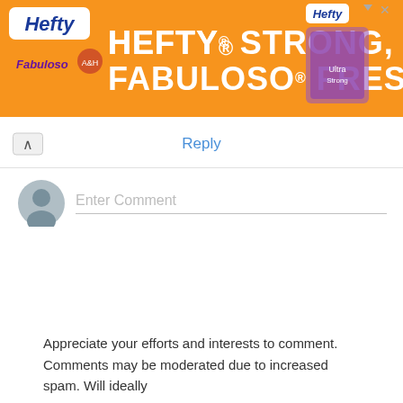[Figure (other): Advertisement banner for Hefty and Fabuloso products. Orange background with text 'HEFTY STRONG, FABULOSO FRESH' in white bold text. Hefty and Fabuloso logos on the left, Hefty product image on the right.]
Reply
Enter Comment
Appreciate your efforts and interests to comment. Comments may be moderated due to increased spam. Will ideally